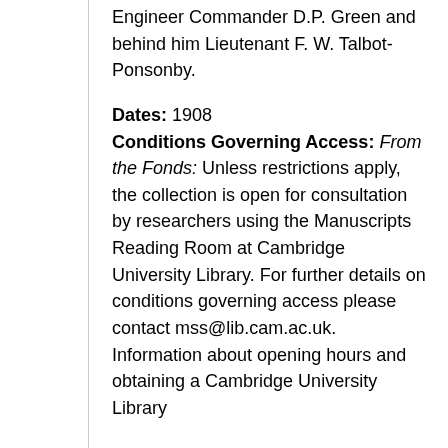Engineer Commander D.P. Green and behind him Lieutenant F. W. Talbot-Ponsonby.
Dates: 1908 Conditions Governing Access: From the Fonds: Unless restrictions apply, the collection is open for consultation by researchers using the Manuscripts Reading Room at Cambridge University Library. For further details on conditions governing access please contact mss@lib.cam.ac.uk. Information about opening hours and obtaining a Cambridge University Library